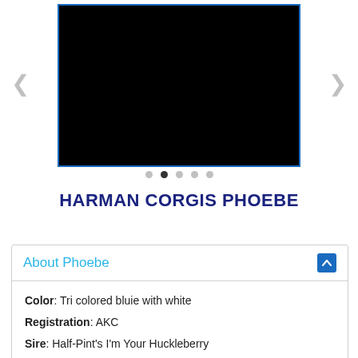[Figure (photo): Black image carousel with blue border, left and right navigation arrows, and 5 pagination dots (second dot is active)]
HARMAN CORGIS PHOEBE
About Phoebe
Color: Tri colored bluie with white
Registration: AKC
Sire: Half-Pint's I'm Your Huckleberry